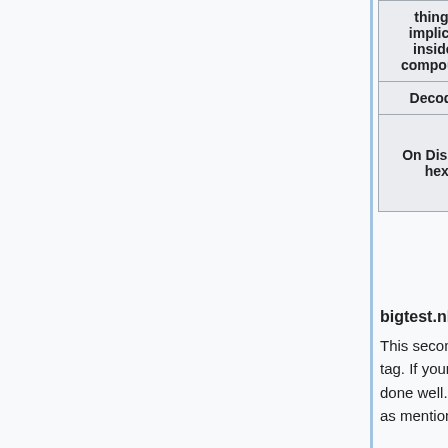| (thing is implicitly inside a compound) | (first element in the implicit compound) | Length of name of the root compound | c... |
| --- | --- | --- | --- |
| Decoded | Compound | 11 | he... |
| On Disk (in hex) | 0a | 00 0b | 6... 6... 2... 7... 6... |
bigtest.nbt
This second example is a gzip compressed test of every available tag. If your program can successfully parse this file, then you've done well. Note that the tags under TAG_List do not have a name, as mentioned above.